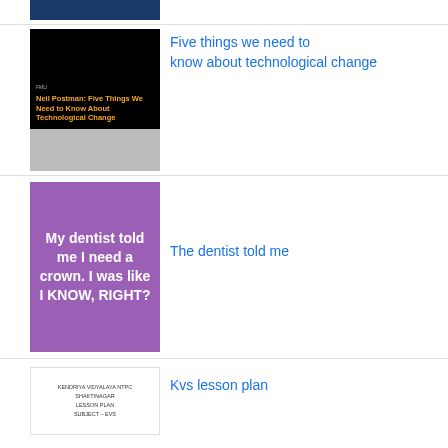[Figure (screenshot): Partial thumbnail of a dark blue image at the top of the page]
[Figure (screenshot): Video thumbnail with black background showing 'Neil Postman: Five Things We Need to Know About Technological Change' in yellow text on black]
Five things we need to know about technological change
[Figure (illustration): Purple background meme image with white bold text: My dentist told me I need a crown. I was like I KNOW, RIGHT?]
The dentist told me
[Figure (screenshot): Document thumbnail showing KENDRIYA VIDYALAYA NTPC SHAKTINAGAR LESSON PLAN SUBJECT – EVS]
Kvs lesson plan